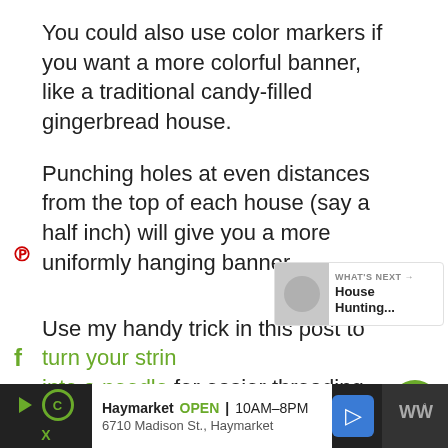You could also use color markers if you want a more colorful banner, like a traditional candy-filled gingerbread house.
Punching holes at even distances from the top of each house (say a half inch) will give you a more uniformly hanging banner.
Use my handy trick in this post to turn your string into a needle for easier threading.
[Figure (screenshot): What's Next card showing House Hunting article thumbnail]
[Figure (screenshot): Bottom advertisement bar for Haymarket showing OPEN 10AM-8PM, 6710 Madison St., Haymarket with navigation icon]